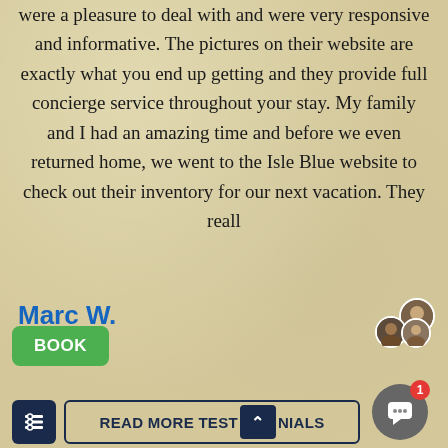were a pleasure to deal with and were very responsive and informative. The pictures on their website are exactly what you end up getting and they provide full concierge service throughout your stay. My family and I had an amazing time and before we even returned home, we went to the Isle Blue website to check out their inventory for our next vacation. They reall
[Figure (screenshot): A popup/tooltip overlay showing 'Isle Blue' as title and partially visible text 'Hi, Let us know your stellar team of specialist']
Marc W.
Emvie
[Figure (photo): Two overlapping avatar circles showing user profile photos]
BOOK
READ MORE TESTIMONIALS